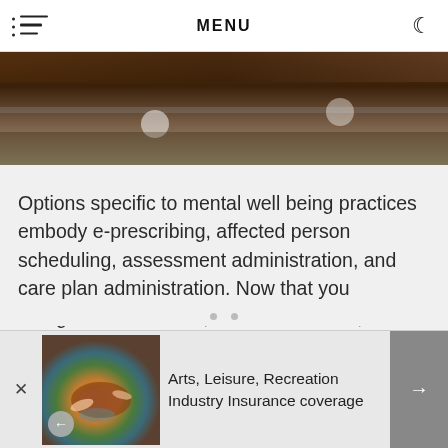MENU
[Figure (photo): Partial view of a dark wooden furniture piece or shelf with blurred white circular objects, cropped at top]
Options specific to mental well being practices embody e-prescribing, affected person scheduling, assessment administration, and care plan administration. Now that you recognize what to eat, how much to eat, and in what quantity, it is time to arrange your weight-reduction plan into meals.
[Figure (photo): Thumbnail image of hands shaping clay pottery on a wheel, with blue and brown colors]
Arts, Leisure, Recreation Industry Insurance coverage